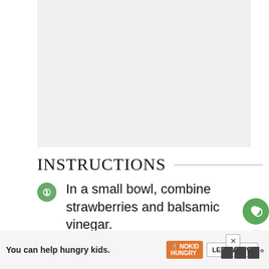[Figure (photo): Food/recipe image placeholder area at top of page]
INSTRUCTIONS
In a small bowl, combine strawberries and balsamic vinegar.
Preheat oven to 375 degrees and line a baking sheet with parchment paper.
Place brie wheel on parchment and with strawberry mixture. Add on chopped walnuts and bake for 15
[Figure (other): Advertisement banner: You can help hungry kids. NO KID HUNGRY. LEARN HOW]